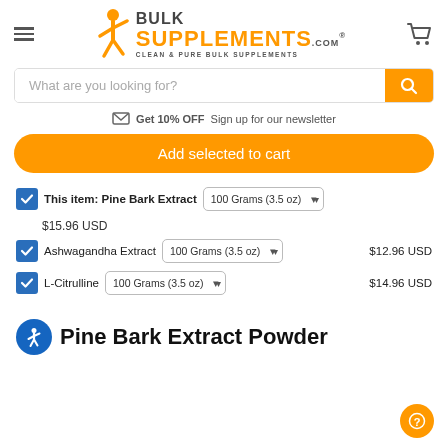BulkSupplements.com - Clean & Pure Bulk Supplements
What are you looking for?
Get 10% OFF Sign up for our newsletter
Add selected to cart
This item: Pine Bark Extract  100 Grams (3.5 oz)  $15.96 USD
Ashwagandha Extract  100 Grams (3.5 oz)  $12.96 USD
L-Citrulline  100 Grams (3.5 oz)  $14.96 USD
Pine Bark Extract Powder